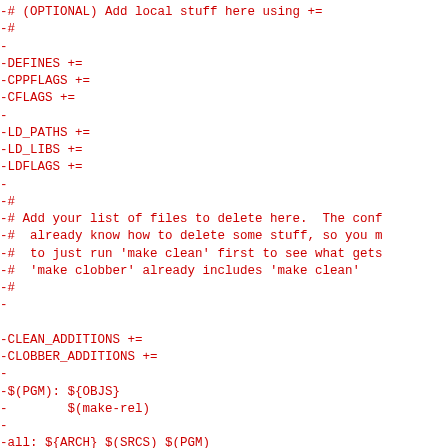-# (OPTIONAL) Add local stuff here using +=
-#
-
-DEFINES +=
-CPPFLAGS +=
-CFLAGS +=
-
-LD_PATHS +=
-LD_LIBS +=
-LDFLAGS +=
-
-#
-# Add your list of files to delete here.  The conf
-#  already know how to delete some stuff, so you m
-#  to just run 'make clean' first to see what gets
-#  'make clobber' already includes 'make clean'
-#
-
-CLEAN_ADDITIONS +=
-CLOBBER_ADDITIONS +=
-
-$(PGM): ${OBJS}
-        $(make-rel)
-
-all: ${ARCH} $(SRCS) $(PGM)
-        $(INSTALL_CHANGE) -m 644 $(srcdir)/linkcmds
-
-Makefile: $(srcdir)/Makefile.in $(top_builddir)/co
-        cd $(top_builddir) \
-        && CONFIG_FILES=$(subdir)/$@ CONFIG_HEADER